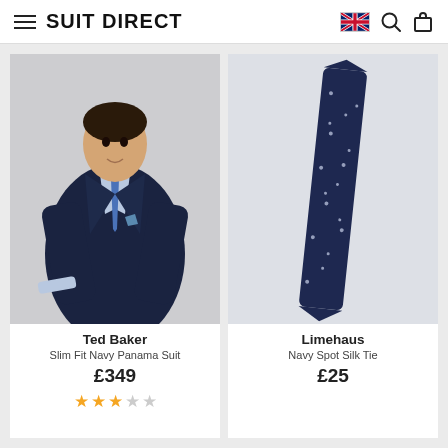SUIT DIRECT
[Figure (photo): Man wearing navy Ted Baker slim fit suit with blue tie and pocket square]
Ted Baker
Slim Fit Navy Panama Suit
£349
[Figure (photo): Limehaus Navy Spot Silk Tie on grey background]
Limehaus
Navy Spot Silk Tie
£25